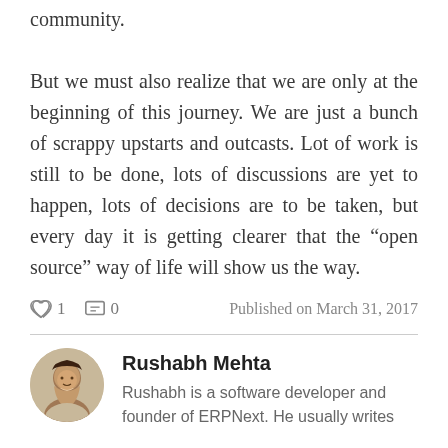community. But we must also realize that we are only at the beginning of this journey. We are just a bunch of scrappy upstarts and outcasts. Lot of work is still to be done, lots of discussions are yet to happen, lots of decisions are to be taken, but every day it is getting clearer that the “open source” way of life will show us the way.
♡ 1  ☐ 0    Published on March 31, 2017
Rushabh Mehta
Rushabh is a software developer and founder of ERPNext. He usually writes